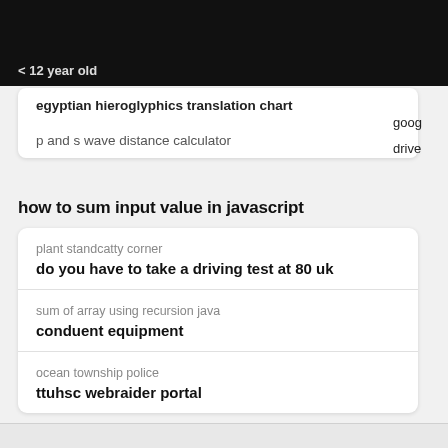< 12 year old
egyptian hieroglyphics translation chart
p and s wave distance calculator
how to sum input value in javascript
plant standcatty corner
do you have to take a driving test at 80 uk
sum of array using recursion java
conduent equipment
ocean township police
ttuhsc webraider portal